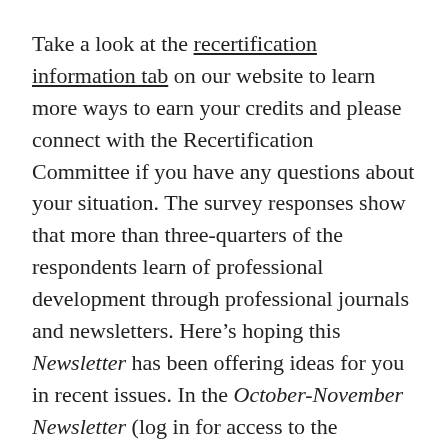Take a look at the recertification information tab on our website to learn more ways to earn your credits and please connect with the Recertification Committee if you have any questions about your situation. The survey responses show that more than three-quarters of the respondents learn of professional development through professional journals and newsletters. Here's hoping this Newsletter has been offering ideas for you in recent issues. In the October-November Newsletter (log in for access to the Newsletter) you will find more ideas for professional development sources.
Survey respondents listed a broad array of professional organizations among the